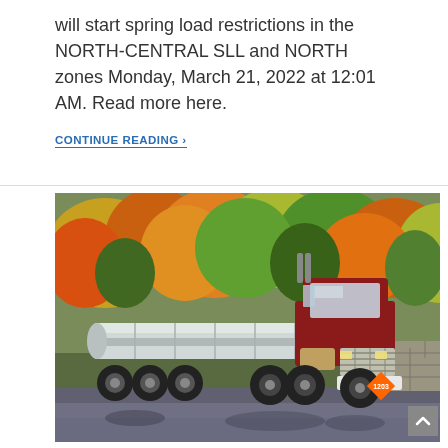will start spring load restrictions in the NORTH-CENTRAL SLL and NORTH zones Monday, March 21, 2022 at 12:01 AM. Read more here.
CONTINUE READING >
[Figure (photo): A red and white tanker truck (fuel/liquid tanker) driving on a wet road with autumn foliage trees in the background and a stone wall to the right.]